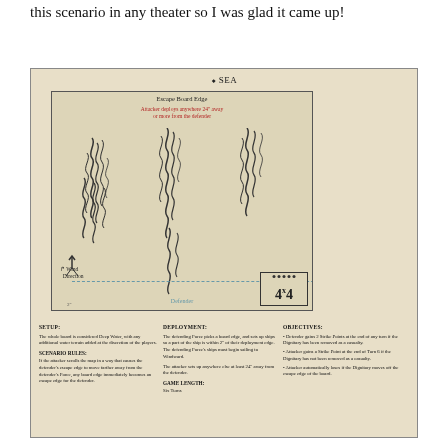this scenario in any theater so I was glad it came up!
[Figure (illustration): Scenario card for a naval wargame showing a sea battle map with wave patterns representing ships, wind direction arrow, escape board edge, attacker deployment instructions in red, defender position marker, a 4x4 grid indicator, and three columns of rules text covering Setup, Scenario Rules, Deployment, Game Length, and Objectives.]
SETUP: The whole board is considered Deep Water, with any additional water terrain added at the discretion of the players. SCENARIO RULES: If the attacker scrolls the map in a way that causes the defender's escape edge to move farther away from the defender's Force, any board edge immediately becomes an escape edge for the defender.
DEPLOYMENT: The defending Force picks a board edge, and sets up ships so a part of the ship is within 2" of their deployment edge. The defending Force's ships must begin sailing to Windward. The attacker sets up anywhere else at least 24" away from the defender. GAME LENGTH: Six Turns
OBJECTIVES: • Defender gains 2 Strike Points at the end of any turn if the Dignitary has been removed as a casualty. • Attacker gains a Strike Point at the end of Turn 6 if the Dignitary has not been removed as a casualty. • Attacker automatically loses if the Dignitary moves off the escape edge of the board.